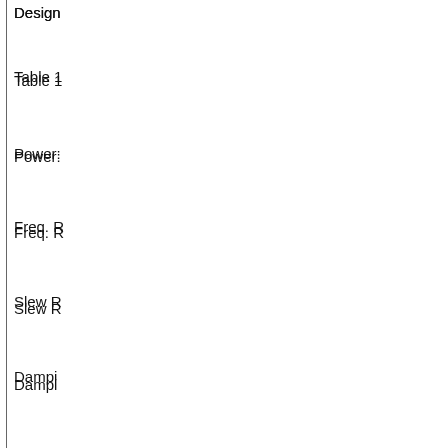Design
Table 1
Power:
Freq. R
Slew R
Dampi
Noise:
Harmo
harmon
second
watts, 2
distortio
Table 2
Q1,2,3,
Q4
Q5,6,7
Q9-16
D1,2
D3
D4,5
C1,2